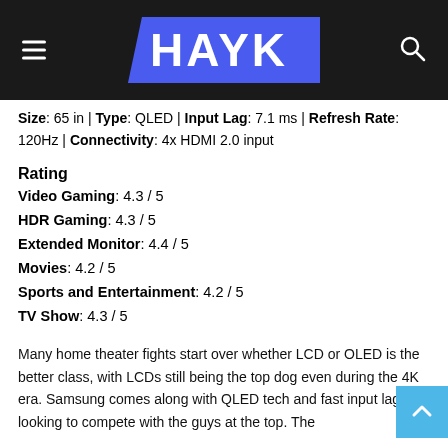HAYK
Size: 65 in | Type: QLED | Input Lag: 7.1 ms | Refresh Rate: 120Hz | Connectivity: 4x HDMI 2.0 input
Rating
Video Gaming: 4.3 / 5
HDR Gaming: 4.3 / 5
Extended Monitor: 4.4 / 5
Movies: 4.2 / 5
Sports and Entertainment: 4.2 / 5
TV Show: 4.3 / 5
Many home theater fights start over whether LCD or OLED is the better class, with LCDs still being the top dog even during the 4K era. Samsung comes along with QLED tech and fast input lag, looking to compete with the guys at the top. The